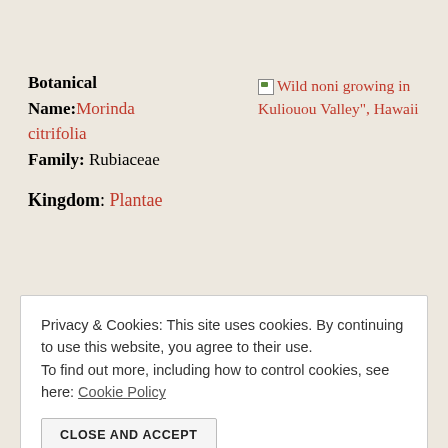Botanical Name: Morinda citrifolia
Family: Rubiaceae
[Figure (photo): Broken image placeholder with alt text: Wild noni growing in Kuliouou Valley", Hawaii]
Kingdom: Plantae
Privacy & Cookies: This site uses cookies. By continuing to use this website, you agree to their use. To find out more, including how to control cookies, see here: Cookie Policy
CLOSE AND ACCEPT
Indian mulberry, beach mulberry, Tahitian noni, cheese